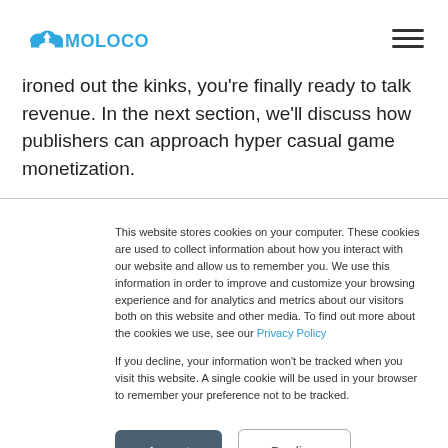MOLOCO
ironed out the kinks, you're finally ready to talk revenue. In the next section, we'll discuss how publishers can approach hyper casual game monetization.
This website stores cookies on your computer. These cookies are used to collect information about how you interact with our website and allow us to remember you. We use this information in order to improve and customize your browsing experience and for analytics and metrics about our visitors both on this website and other media. To find out more about the cookies we use, see our Privacy Policy
If you decline, your information won't be tracked when you visit this website. A single cookie will be used in your browser to remember your preference not to be tracked.